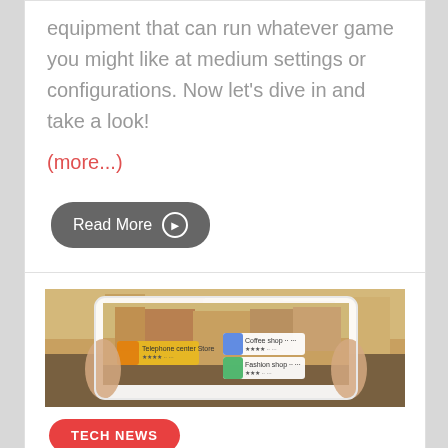equipment that can run whatever game you might like at medium settings or configurations. Now let's dive in and take a look!
(more...)
Read More ▶
[Figure (photo): A smartphone being held by two hands displaying an augmented reality street view app, with AR overlay tags identifying nearby shops including Telephone center Store, Coffee shop, and Fashion shop with star ratings.]
TECH NEWS